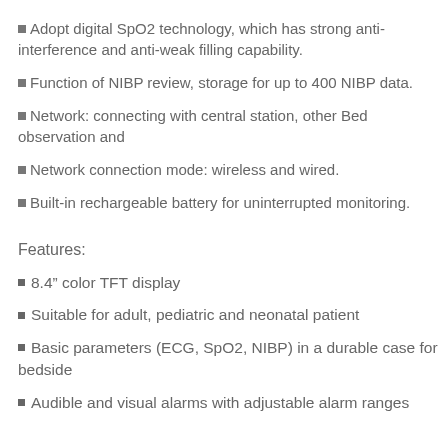Adopt digital SpO2 technology, which has strong anti-interference and anti-weak filling capability.
Function of NIBP review, storage for up to 400 NIBP data.
Network: connecting with central station, other Bed observation and
Network connection mode: wireless and wired.
Built-in rechargeable battery for uninterrupted monitoring.
Features:
8.4” color TFT display
Suitable for adult, pediatric and neonatal patient
Basic parameters (ECG, SpO2, NIBP) in a durable case for bedside
Audible and visual alarms with adjustable alarm ranges